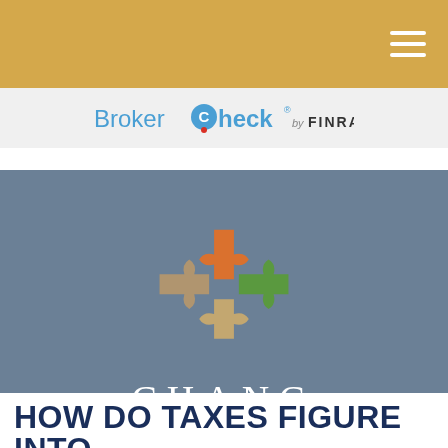Navigation bar with hamburger menu
[Figure (logo): BrokerCheck by FINRA logo in a light gray navigation bar]
[Figure (logo): Chang & Associates Financial Advisors logo with four interlocking puzzle pieces (orange, green, gold/tan colors) on a blue-gray background with company name in white serif letters and a gold banner below]
HOW DO TAXES FIGURE INTO